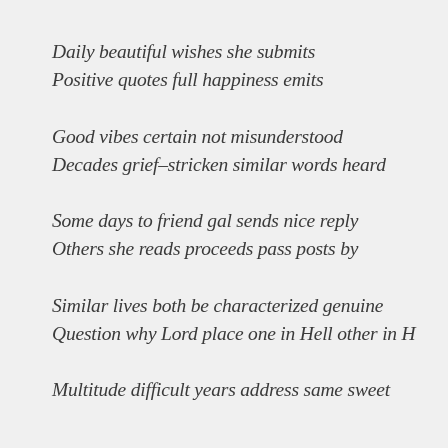Daily beautiful wishes she submits
Positive quotes full happiness emits
Good vibes certain not misunderstood
Decades grief–stricken similar words heard
Some days to friend gal sends nice reply
Others she reads proceeds pass posts by
Similar lives both be characterized genuine
Question why Lord place one in Hell other in H
Multitude difficult years address same sweet